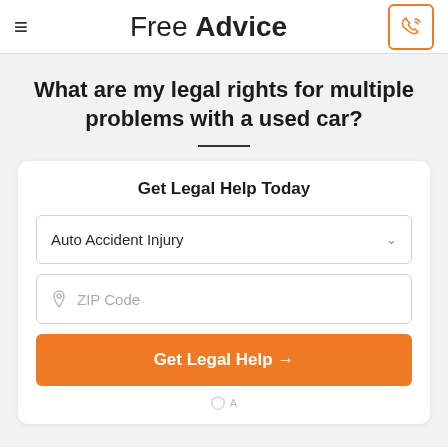Free Advice
What are my legal rights for multiple problems with a used car?
Get Legal Help Today
Auto Accident Injury
ZIP Code
Get Legal Help →